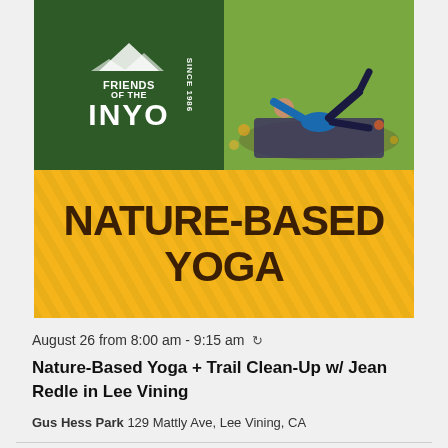[Figure (photo): Left half: Friends of the Inyo logo on dark green background with mountain silhouette. Text reads FRIENDS OF THE INYO SINCE 1986. Right half: Photo of person doing yoga pose outdoors on a mat with autumn leaves visible.]
[Figure (illustration): Golden yellow banner with leaf/herringbone texture pattern and bold dark brown text reading NATURE-BASED YOGA in two lines.]
August 26 from 8:00 am - 9:15 am ↻
Nature-Based Yoga + Trail Clean-Up w/ Jean Redle in Lee Vining
Gus Hess Park 129 Mattly Ave, Lee Vining, CA